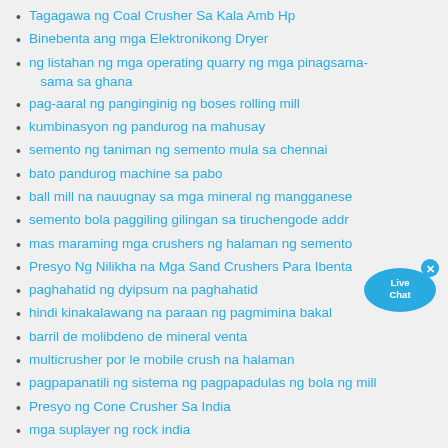Tagagawa ng Coal Crusher Sa Kala Amb Hp
Binebenta ang mga Elektronikong Dryer
ng listahan ng mga operating quarry ng mga pinagsama-sama sa ghana
pag-aaral ng panginginig ng boses rolling mill
kumbinasyon ng pandurog na mahusay
semento ng taniman ng semento mula sa chennai
bato pandurog machine sa pabo
ball mill na nauugnay sa mga mineral ng mangganese
semento bola paggiling gilingan sa tiruchengode addr
mas maraming mga crushers ng halaman ng semento
Presyo Ng Nilikha na Mga Sand Crushers Para Ibenta
paghahatid ng dyipsum na paghahatid
hindi kinakalawang na paraan ng pagmimina bakal
barril de molibdeno de mineral venta
multicrusher por le mobile crush na halaman
pagpapanatili ng sistema ng pagpapadulas ng bola ng mill
Presyo ng Cone Crusher Sa India
mga suplayer ng rock india
Disenyo ng Feeder Machine
mill para sa alumina at presyo para ibenta
10 toneladang plano ng paggamot ng tubig sa mineral
[Figure (illustration): Live Chat bubble icon in blue with 'Live Chat' text and an X close button]